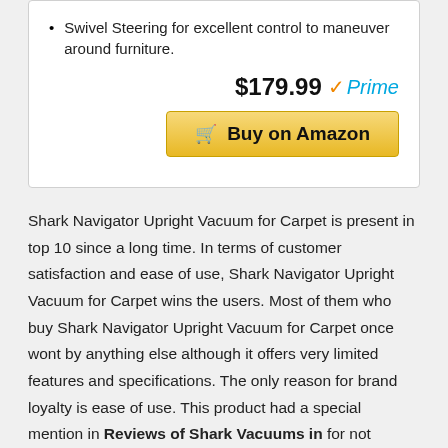Swivel Steering for excellent control to maneuver around furniture.
$179.99 ✓Prime
Buy on Amazon
Shark Navigator Upright Vacuum for Carpet is present in top 10 since a long time. In terms of customer satisfaction and ease of use, Shark Navigator Upright Vacuum for Carpet wins the users. Most of them who buy Shark Navigator Upright Vacuum for Carpet once wont by anything else although it offers very limited features and specifications. The only reason for brand loyalty is ease of use. This product had a special mention in Reviews of Shark Vacuums in for not expanding user base but definitely not loosing any. The shift of people from Shark Vacuums to any other Shark Vacuums